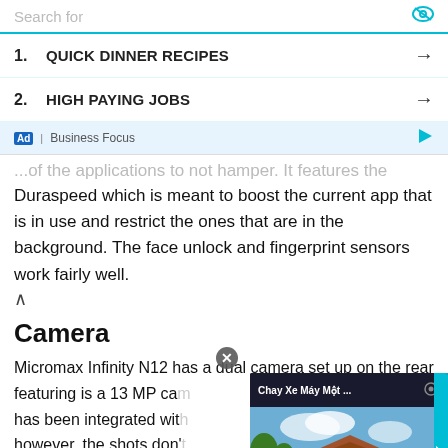Search for
1. QUICK DINNER RECIPES →
2. HIGH PAYING JOBS →
Ad | Business Focus
...of the applications to not hamper. It features the Duraspeed which is meant to boost the current app that is in use and restrict the ones that are in the background. The face unlock and fingerprint sensors work fairly well.
Camera
Micromax Infinity N12 has a dual camera set up on the rear featuring is a 13 MP camera... has been integrated with... however, the shots don't... shots are clean and clear... photos are hazy or blurr... expect clear and spotless pictures from the N12 camera.
[Figure (screenshot): Video overlay showing 'Chay Xe May Mot ...' with a temple/outdoor scene and play button]